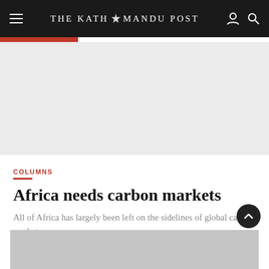THE KATHMANDU POST
COLUMNS
Africa needs carbon markets
All of Africa has largely been left on the sidelines of global carbon markets.
[Figure (photo): Placeholder image area at the bottom of the article page]